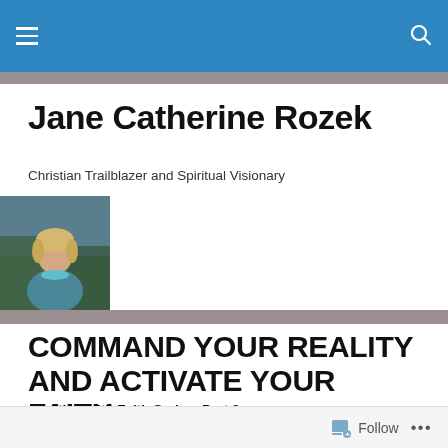Navigation bar with hamburger menu and search icon
Jane Catherine Rozek
Christian Trailblazer and Spiritual Visionary
[Figure (photo): Portrait photo of a blonde woman outdoors]
COMMAND YOUR REALITY AND ACTIVATE YOUR FAITH
Creating with Faith Series: Part 8
[Figure (photo): Galaxy/star field photograph banner]
Follow  •••